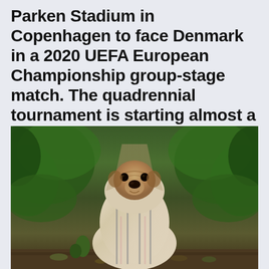Parken Stadium in Copenhagen to face Denmark in a 2020 UEFA European Championship group-stage match. The quadrennial tournament is starting almost a year late because of the pandemic. Kickoff is set for noon
[Figure (photo): A pug dog wrapped in a plaid blanket sitting in a forest path, surrounded by green foliage and leaves on the ground]